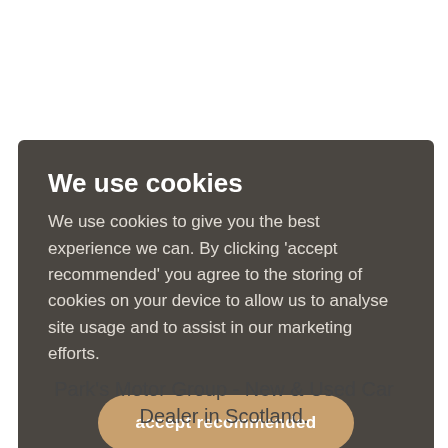We use cookies
We use cookies to give you the best experience we can. By clicking 'accept recommended' you agree to the storing of cookies on your device to allow us to analyse site usage and to assist in our marketing efforts.
accept recommended
manage settings
Park's Motor Group - New & Used Car Dealer in Scotland.